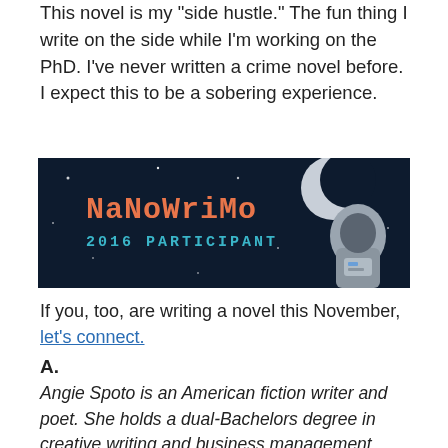This novel is my 'side hustle.' The fun thing I write on the side while I'm working on the PhD. I've never written a crime novel before. I expect this to be a sobering experience.
[Figure (illustration): NaNoWriMo 2016 Participant badge/banner on dark navy background with stars and astronaut illustration. Text reads 'NaNoWriMo' in orange pixel font and '2016 PARTICIPANT' in teal.]
If you, too, are writing a novel this November, let's connect.
A.
Angie Spoto is an American fiction writer and poet. She holds a dual-Bachelors degree in creative writing and business management from